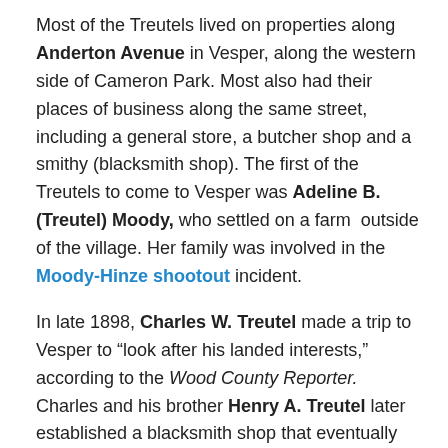Most of the Treutels lived on properties along Anderton Avenue in Vesper, along the western side of Cameron Park. Most also had their places of business along the same street, including a general store, a butcher shop and a smithy (blacksmith shop). The first of the Treutels to come to Vesper was Adeline B. (Treutel) Moody, who settled on a farm outside of the village. Her family was involved in the Moody-Hinze shootout incident.
In late 1898, Charles W. Treutel made a trip to Vesper to “look after his landed interests,” according to the Wood County Reporter. Charles and his brother Henry A. Treutel later established a blacksmith shop that eventually became a service station and auto-repair shop. Treutel Brothers was located on the Hemlock Creek, just across from the northern edge of Cameron Park.